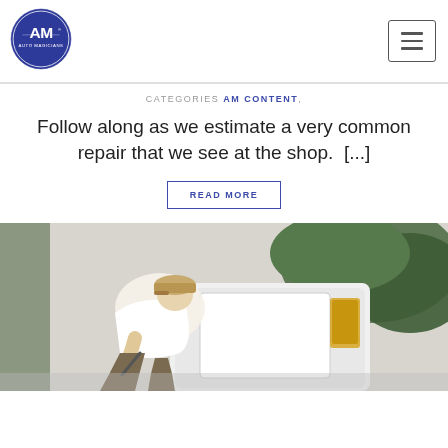[Figure (logo): Auto Magicians circular logo with AM initials in dark blue/indigo circle]
CATEGORIES AM CONTENT,
Follow along as we estimate a very common repair that we see at the shop.  [...]
READ MORE
[Figure (photo): Man in white shirt and tan cap leaning over white car door, working on a repair in outdoor setting with green foliage in background]